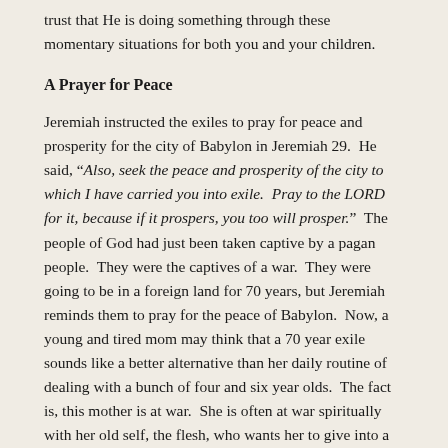trust that He is doing something through these momentary situations for both you and your children.
A Prayer for Peace
Jeremiah instructed the exiles to pray for peace and prosperity for the city of Babylon in Jeremiah 29.  He said, “Also, seek the peace and prosperity of the city to which I have carried you into exile.  Pray to the LORD for it, because if it prospers, you too will prosper.”  The people of God had just been taken captive by a pagan people.  They were the captives of a war.  They were going to be in a foreign land for 70 years, but Jeremiah reminds them to pray for the peace of Babylon.  Now, a young and tired mom may think that a 70 year exile sounds like a better alternative than her daily routine of dealing with a bunch of four and six year olds.  The fact is, this mother is at war.  She is often at war spiritually with her old self, the flesh, who wants her to give into a sinful tirade.  Yet, her new man who is “created after the likeness of